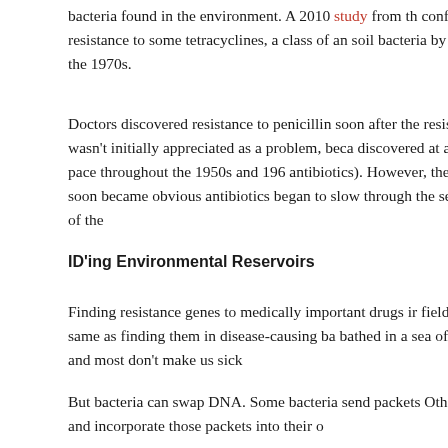bacteria found in the environment. A 2010 study from th conferring resistance to some tetracyclines, a class of an soil bacteria by 2008 than the 1970s.
Doctors discovered resistance to penicillin soon after the resistance wasn't initially appreciated as a problem, beca discovered at a quick pace throughout the 1950s and 196 antibiotics). However, the problem soon became obvious antibiotics began to slow through the second half of the
ID'ing Environmental Reservoirs
Finding resistance genes to medically important drugs ir field isn't the same as finding them in disease-causing ba bathed in a sea of microbes, and most don't make us sick
But bacteria can swap DNA. Some bacteria send packets Others pick up and incorporate those packets into their o